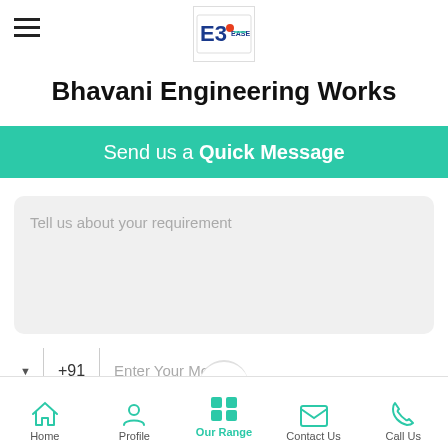[Figure (logo): Bhavani Engineering Works logo with E3 mark in blue and red dot]
Bhavani Engineering Works
Send us a Quick Message
Tell us about your requirement
+91 Enter Your Mobile
Send
Home  Profile  Our Range  Contact Us  Call Us